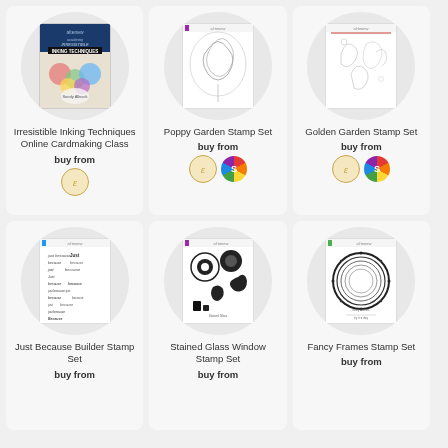[Figure (illustration): Product card: Irresistible Inking Techniques Online Cardmaking Class with buy from Altenew logo]
Irresistible Inking Techniques Online Cardmaking Class
buy from
[Figure (illustration): Product card: Poppy Garden Stamp Set with buy from Altenew and Stamptopia logos]
Poppy Garden Stamp Set
buy from
[Figure (illustration): Product card: Golden Garden Stamp Set with buy from Altenew and Stamptopia logos]
Golden Garden Stamp Set
buy from
[Figure (illustration): Product card: Just Because Builder Stamp Set with buy from]
Just Because Builder Stamp Set
buy from
[Figure (illustration): Product card: Stained Glass Window Stamp Set with buy from]
Stained Glass Window Stamp Set
buy from
[Figure (illustration): Product card: Fancy Frames Stamp Set with buy from]
Fancy Frames Stamp Set
buy from